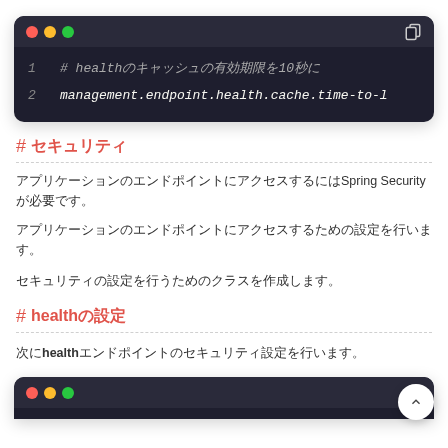[Figure (screenshot): Dark-themed code editor block showing 2 lines: line 1 is a comment about health cache time 10, line 2 shows management.endpoint.health.cache.time-to-l]
# セキュリティ
アプリケーションのエンドポイントにアクセスするにはSpring Securityが必要です。
アプリケーションのエンドポイントにアクセスするための設定を行います。
セキュリティの設定を行うためのクラスを作成します。
# healthの設定
次にhealthエンドポイントのセキュリティ設定を行います。
[Figure (screenshot): Bottom portion of a dark-themed code editor block, partially visible]